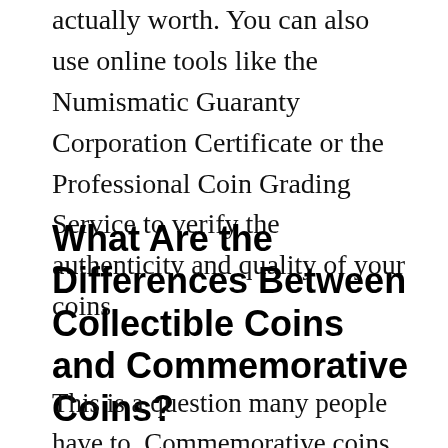actually worth. You can also use online tools like the Numismatic Guaranty Corporation Certificate or the Professional Coin Grading Service to verify the authenticity and quality of your coins.
What Are the Differences Between Collectible Coins and Commemorative Coins?
This is a question many people have to. Commemorative coins are coins that are minted and issued by a government agency to